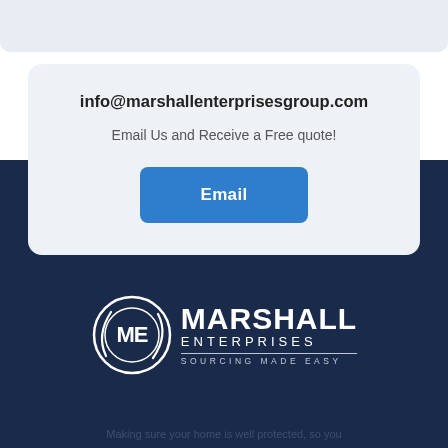info@marshallenterprisesgroup.com
Email Us and Receive a Free quote!
Email
[Figure (logo): Marshall Enterprises logo — circular ME emblem with swoosh lines in white, next to bold 'MARSHALL ENTERPRISES' text and 'SOURCING MADE EASY' tagline, all in white on dark navy background]
Making sure your home is well protected, so you